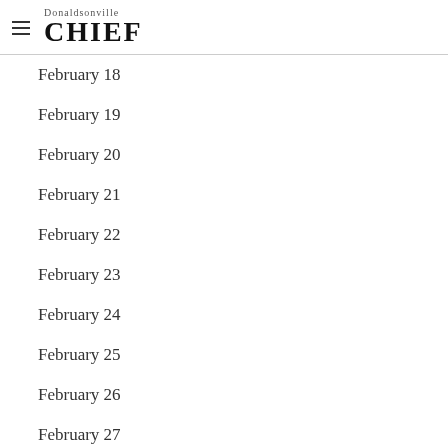Donaldsonville CHIEF
February 18
February 19
February 20
February 21
February 22
February 23
February 24
February 25
February 26
February 27